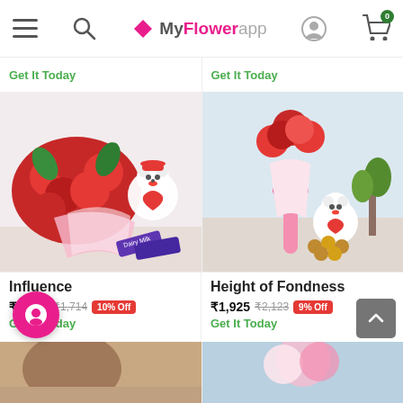MyFlowerapp — navigation bar with menu, search, logo, profile, cart (0)
Get It Today
Get It Today
[Figure (photo): Red roses bouquet with teddy bear and Dairy Milk chocolates]
[Figure (photo): Pink carnation bouquet with teddy bear and Ferrero Rocher chocolates]
Influence
₹1,545  ₹1,714  10% Off
Get It Today
Height of Fondness
₹1,925  ₹2,123  9% Off
Get It Today
[Figure (photo): Partial product image bottom left]
[Figure (photo): Partial product image bottom right — pink flowers]